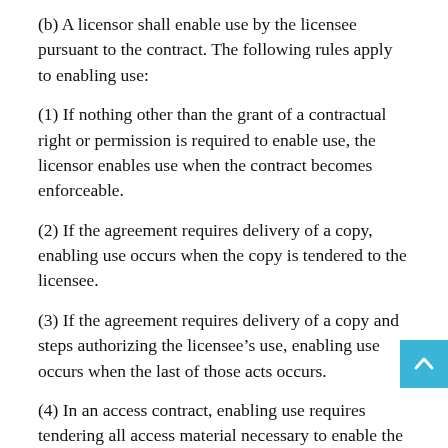(b) A licensor shall enable use by the licensee pursuant to the contract. The following rules apply to enabling use:
(1) If nothing other than the grant of a contractual right or permission is required to enable use, the licensor enables use when the contract becomes enforceable.
(2) If the agreement requires delivery of a copy, enabling use occurs when the copy is tendered to the licensee.
(3) If the agreement requires delivery of a copy and steps authorizing the licensee’s use, enabling use occurs when the last of those acts occurs.
(4) In an access contract, enabling use requires tendering all access material necessary to enable the agreed access.
(5) If the agreement requires a transfer of ownership of informational rights and a filing or recording is allowed by law to establish priority of the transferred ownership, on request by the licensee, the licensor shall execute and